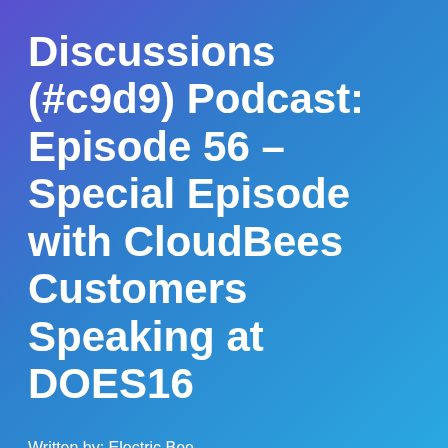Discussions (#c9d9) Podcast: Episode 56 – Special Episode with CloudBees Customers Speaking at DOES16
Written by: Electric Bee
November 01, 2016
1 min read